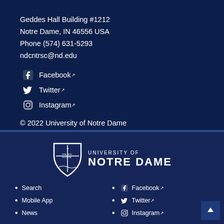Geddes Hall Building #1212
Notre Dame, IN 46556 USA
Phone (574) 631-5293
ndcntrsc@nd.edu
Facebook
Twitter
Instagram
© 2022 University of Notre Dame
[Figure (logo): University of Notre Dame shield logo with text UNIVERSITY OF NOTRE DAME]
Search
Mobile App
News
Facebook
Twitter
Instagram